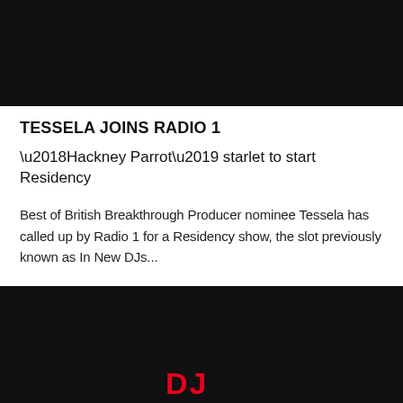[Figure (photo): Black banner image at the top of the page]
TESSELA JOINS RADIO 1
‘Hackney Parrot’ starlet to start Residency
Best of British Breakthrough Producer nominee Tessela has called up by Radio 1 for a Residency show, the slot previously known as In New DJs...
[Figure (logo): Black bar at the bottom with red DJ Mag logo letters]